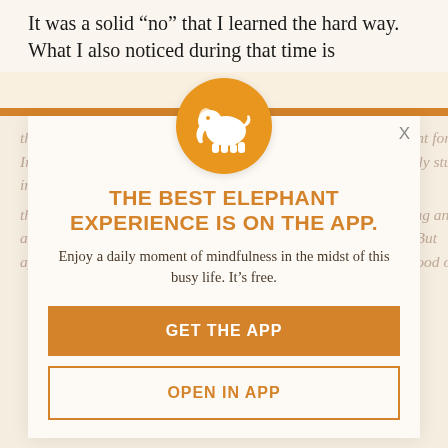It was a solid “no” that I learned the hard way. What I also noticed during that time is
that many people were able to succeed in fields they had no talent for. In contrast, many people seemed destined for greatness seemingly stuck in mediocrity.
that it was the combination of the two. An averagely good-looking and an overall decent human being growing up. She was charming. But apart from that, there was nothing about her that particularly stood out.
[Figure (logo): Elephant Journal app logo: white elephant silhouette on an orange circle]
THE BEST ELEPHANT EXPERIENCE IS ON THE APP.
Enjoy a daily moment of mindfulness in the midst of this busy life. It’s free.
GET THE APP
OPEN IN APP